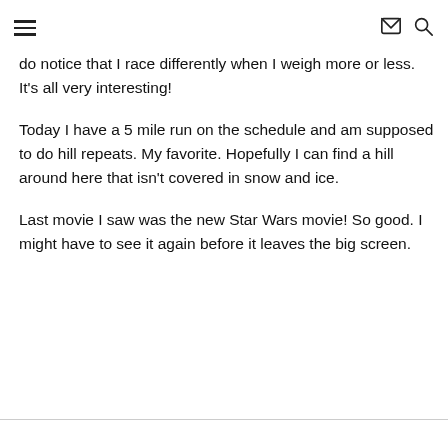[hamburger menu] [mail icon] [search icon]
do notice that I race differently when I weigh more or less. It’s all very interesting!
Today I have a 5 mile run on the schedule and am supposed to do hill repeats. My favorite. Hopefully I can find a hill around here that isn’t covered in snow and ice.
Last movie I saw was the new Star Wars movie! So good. I might have to see it again before it leaves the big screen.